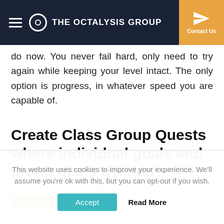THE OCTALYSIS GROUP
do now. You never fail hard, only need to try again while keeping your level intact. The only option is progress, in whatever speed you are capable of.
Create Class Group Quests where individual goals and group goals overlap
[Figure (photo): Partial image strip visible at bottom of main content area, golden/yellow tones]
This website uses cookies to improve your experience. We'll assume you're ok with this, but you can opt-out if you wish.
Accept  Read More